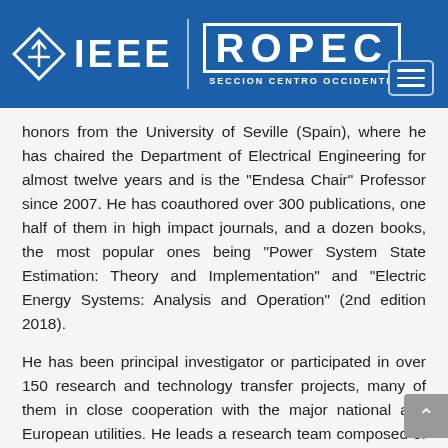[Figure (logo): IEEE ROPEC SECCION CENTRO OCCIDENTE header banner with IEEE logo (diamond with arrow), IEEE text, vertical divider, ROPEC outlined text logo, and hamburger menu button]
honors from the University of Seville (Spain), where he has chaired the Department of Electrical Engineering for almost twelve years and is the “Endesa Chair” Professor since 2007. He has coauthored over 300 publications, one half of them in high impact journals, and a dozen books, the most popular ones being “Power System State Estimation: Theory and Implementation” and “Electric Energy Systems: Analysis and Operation” (2nd edition 2018).
He has been principal investigator or participated in over 150 research and technology transfer projects, many of them in close cooperation with the major national and European utilities. He leads a research team composed of some 30 researchers, including six Full Professors,